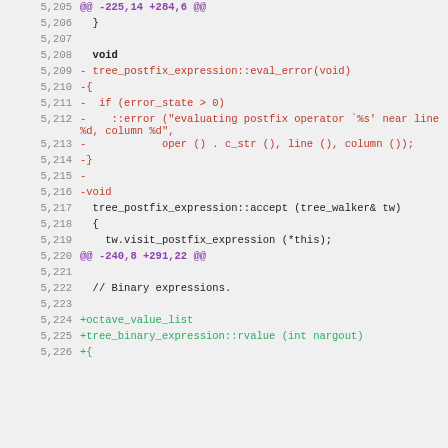Code diff view showing lines 5,205 through 5,225+, with removed lines in red and added lines in green, hunk headers in purple.